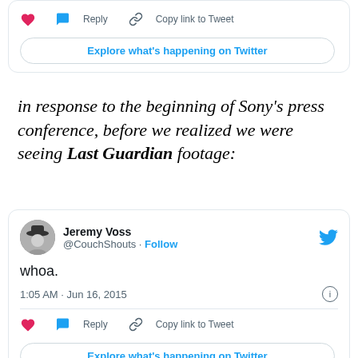[Figure (screenshot): Partial Twitter/X embedded tweet card showing heart icon, Reply, Copy link to Tweet actions, and Explore what's happening on Twitter button]
in response to the beginning of Sony's press conference, before we realized we were seeing Last Guardian footage:
[Figure (screenshot): Embedded tweet from Jeremy Voss (@CouchShouts) dated 1:05 AM · Jun 16, 2015 with text 'whoa.' with Follow button, Twitter bird logo, heart/reply/copy link actions, and Explore what's happening on Twitter button]